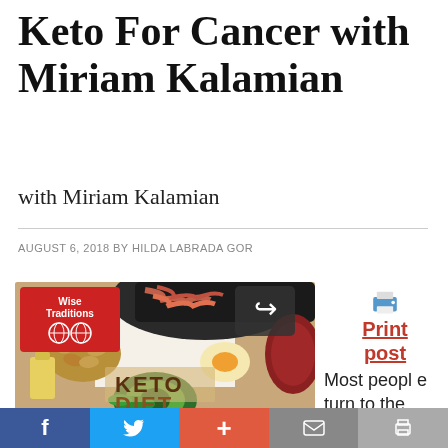Keto For Cancer with Miriam Kalamian
with Miriam Kalamian
AUGUST 6, 2018 BY HILDA LABRADA GOR
2 COMMENTS
[Figure (photo): Keto diet food photo showing bacon, almonds, avocado, eggs, oil, and meat with 'KETO DIET' text overlay, and a 'Wise Traditions' podcast badge in top left corner]
Print post
Most people turn to the